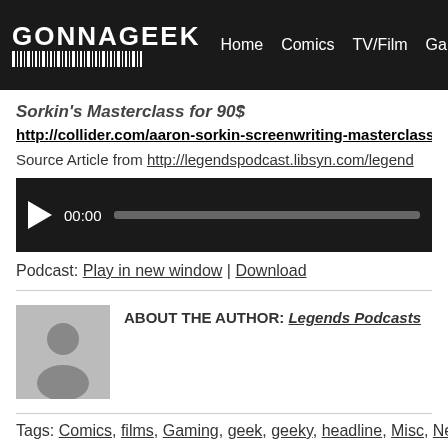GONNAGEEK | Home  Comics  TV/Film  Gaming/Tech
Sorkin's Masterclass for 90$
http://collider.com/aaron-sorkin-screenwriting-masterclass/
Source Article from http://legendspodcast.libsyn.com/legend
[Figure (other): Audio player with play button, 00:00 timestamp, and progress bar]
Podcast: Play in new window | Download
ABOUT THE AUTHOR: Legends Podcasts
Tags: Comics, films, Gaming, geek, geeky, headline, Misc, Net
No comments yet... Be the first to leave a reply!